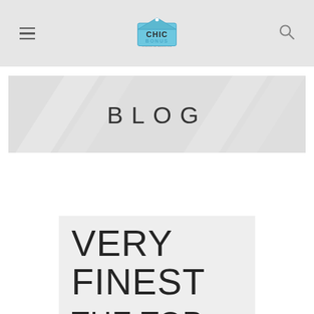ChicBonus — Blog header navigation with logo, hamburger menu, and search icon
[Figure (illustration): Blog banner with diagonal light-ray background pattern and centered text 'BLOG']
VERY FINEST THE TOP